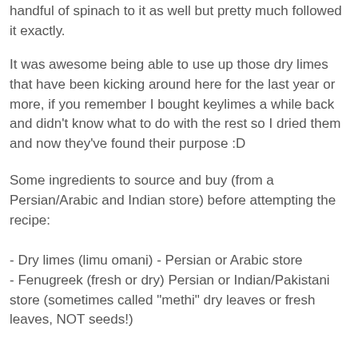handful of spinach to it as well but pretty much followed it exactly.
It was awesome being able to use up those dry limes that have been kicking around here for the last year or more, if you remember I bought keylimes a while back and didn't know what to do with the rest so I dried them and now they've found their purpose :D
Some ingredients to source and buy (from a Persian/Arabic and Indian store) before attempting the recipe:
- Dry limes (limu omani) - Persian or Arabic store
- Fenugreek (fresh or dry) Persian or Indian/Pakistani store (sometimes called "methi" dry leaves or fresh leaves, NOT seeds!)
Regular supermarket items: